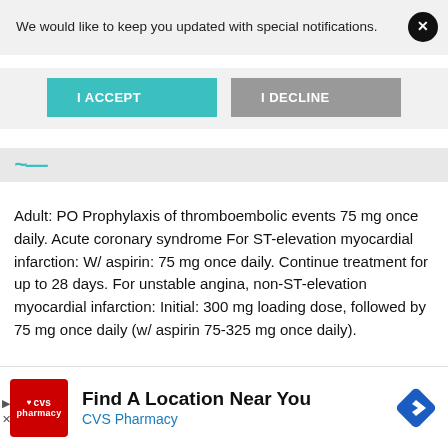We would like to keep you updated with special notifications.
I ACCEPT
I DECLINE
[Figure (logo): Partial website logo strip with teal/cyan stylized graphic]
Adult: PO Prophylaxis of thromboembolic events 75 mg once daily. Acute coronary syndrome For ST-elevation myocardial infarction: W/ aspirin: 75 mg once daily. Continue treatment for up to 28 days. For unstable angina, non-ST-elevation myocardial infarction: Initial: 300 mg loading dose, followed by 75 mg once daily (w/ aspirin 75-325 mg once daily).
[Figure (screenshot): CVS Pharmacy advertisement banner with red CVS logo, 'Find A Location Near You' text, and blue navigation arrow icon]